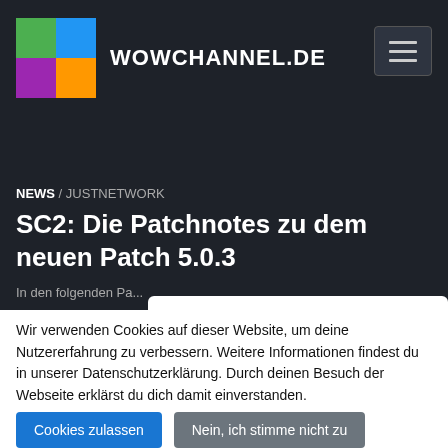[Figure (logo): WOWCHANNEL.DE logo with 2x2 colored grid (green, blue, purple, orange) and text]
NEWS / JUSTNETWORK
SC2: Die Patchnotes zu dem neuen Patch 5.0.3
Datenschutzeinstellungen
Wir verwenden Cookies auf dieser Website, um deine Nutzererfahrung zu verbessern. Weitere Informationen findest du in unserer Datenschutzerklärung. Durch deinen Besuch der Webseite erklärst du dich damit einverstanden.
Cookies zulassen
Nein, ich stimme nicht zu